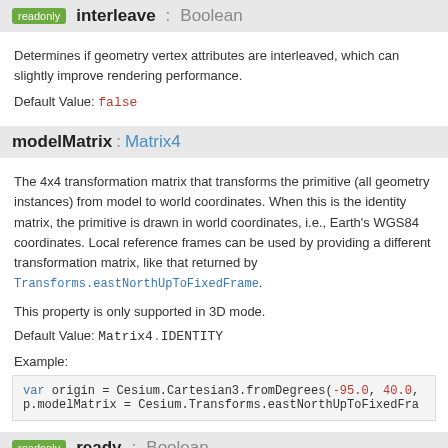readonly interleave : Boolean
Determines if geometry vertex attributes are interleaved, which can slightly improve rendering performance.
Default Value: false
modelMatrix : Matrix4
The 4x4 transformation matrix that transforms the primitive (all geometry instances) from model to world coordinates. When this is the identity matrix, the primitive is drawn in world coordinates, i.e., Earth's WGS84 coordinates. Local reference frames can be used by providing a different transformation matrix, like that returned by Transforms.eastNorthUpToFixedFrame.
This property is only supported in 3D mode.
Default Value: Matrix4.IDENTITY
Example:
var origin = Cesium.Cartesian3.fromDegrees(-95.0, 40.0,
p.modelMatrix = Cesium.Transforms.eastNorthUpToFixedFra
readonly ready : Boolean